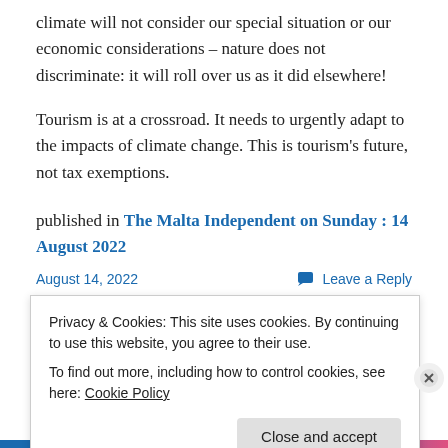climate will not consider our special situation or our economic considerations – nature does not discriminate: it will roll over us as it did elsewhere!
Tourism is at a crossroad. It needs to urgently adapt to the impacts of climate change. This is tourism's future, not tax exemptions.
published in The Malta Independent on Sunday : 14 August 2022
August 14, 2022
Leave a Reply
Privacy & Cookies: This site uses cookies. By continuing to use this website, you agree to their use.
To find out more, including how to control cookies, see here: Cookie Policy